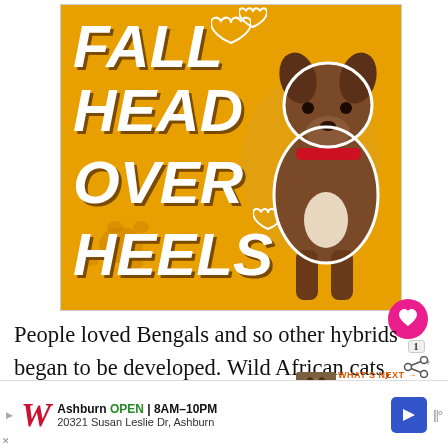[Figure (photo): Advertisement banner with golden/amber background showing a brindle pit bull dog and large white italic text reading FALL HEAD OVER HEELS with heart symbols. Ad has a close X button in the top right corner.]
People loved Bengals and so other hybrids began to be developed. Wild African cats, known as Servals, and domestic cats were used to produce Savannah cats.
[Figure (photo): Small thumbnail image of a cat for a 'What's Next' related article: 25 Reasons NOT to BUY...]
[Figure (infographic): Walgreens advertisement: Ashburn OPEN 8AM-10PM, 20321 Susan Leslie Dr, Ashburn. With Walgreens cursive logo, blue navigation arrow, and play button.]